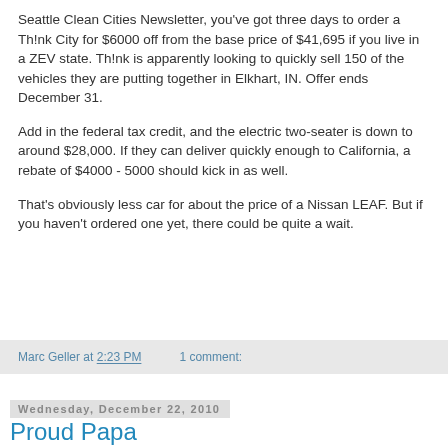Seattle Clean Cities Newsletter, you've got three days to order a Th!nk City for $6000 off from the base price of $41,695 if you live in a ZEV state. Th!nk is apparently looking to quickly sell 150 of the vehicles they are putting together in Elkhart, IN. Offer ends December 31.
Add in the federal tax credit, and the electric two-seater is down to around $28,000. If they can deliver quickly enough to California, a rebate of $4000 - 5000 should kick in as well.
That's obviously less car for about the price of a Nissan LEAF. But if you haven't ordered one yet, there could be quite a wait.
Marc Geller at 2:23 PM    1 comment:
Wednesday, December 22, 2010
Proud Papa